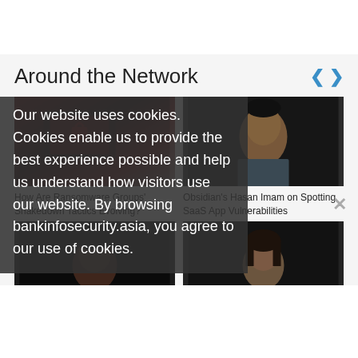Around the Network
[Figure (photo): Ransomware security image showing a laptop with a padlock icon on a dark red background]
How Are Ransomware Groups' Shakedown Tactics Evolving?
[Figure (photo): Portrait of Hasan Imam on dark background]
Obsidian's Hasan Imam on Spotting SaaS App Vulnerabilities
[Figure (photo): Portrait of a woman on dark background]
Our website uses cookies. Cookies enable us to provide the best experience possible and help us understand how visitors use our website. By browsing bankinfosecurity.asia, you agree to our use of cookies.